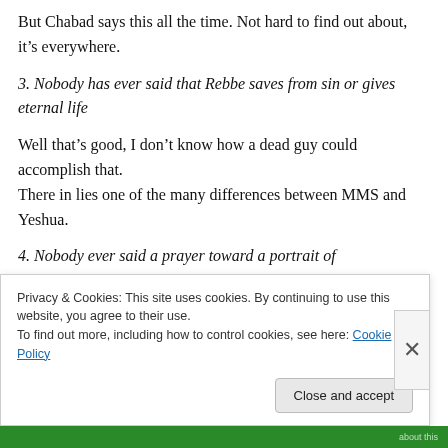But Chabad says this all the time. Not hard to find out about, it’s everywhere.
3. Nobody has ever said that Rebbe saves from sin or gives eternal life
Well that’s good, I don’t know how a dead guy could accomplish that.
There in lies one of the many differences between MMS and Yeshua.
4. Nobody ever said a prayer toward a portrait of
Privacy & Cookies: This site uses cookies. By continuing to use this website, you agree to their use.
To find out more, including how to control cookies, see here: Cookie Policy